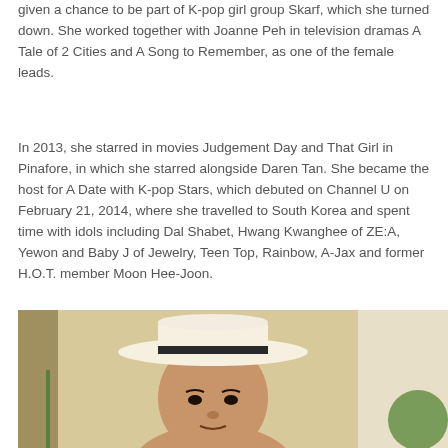given a chance to be part of K-pop girl group Skarf, which she turned down. She worked together with Joanne Peh in television dramas A Tale of 2 Cities and A Song to Remember, as one of the female leads.
In 2013, she starred in movies Judgement Day and That Girl in Pinafore, in which she starred alongside Daren Tan. She became the host for A Date with K-pop Stars, which debuted on Channel U on February 21, 2014, where she travelled to South Korea and spent time with idols including Dal Shabet, Hwang Kwanghee of ZE:A, Yewon and Baby J of Jewelry, Teen Top, Rainbow, A-Jax and former H.O.T. member Moon Hee-Joon.
[Figure (photo): Photo of a young Asian woman wearing a white wide-brim fedora hat with a dark band, looking at the camera, against a warm beige/yellow background.]